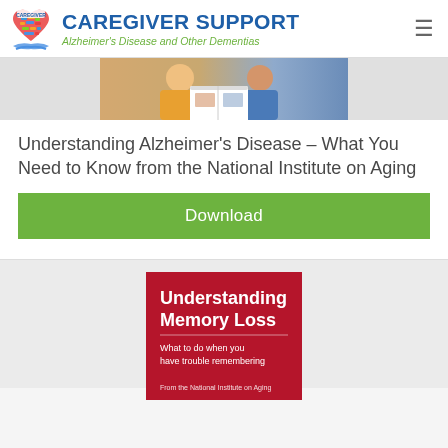CAREGIVER SUPPORT — Alzheimer's Disease and Other Dementias
[Figure (photo): Two people sitting together looking at a photo album or document]
Understanding Alzheimer's Disease – What You Need to Know from the National Institute on Aging
Download
[Figure (illustration): Book cover: 'Understanding Memory Loss – What to do when you have trouble remembering. From the National Institute on Aging.' Red background with white text.]